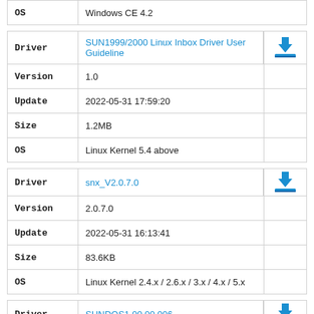|  |  |  |
| --- | --- | --- |
| OS | Windows CE 4.2 |  |
| Driver | Version | Update | Size | OS |
| --- | --- | --- | --- | --- |
| Driver | SUN1999/2000 Linux Inbox Driver User Guideline |  |
| Version | 1.0 |  |
| Update | 2022-05-31 17:59:20 |  |
| Size | 1.2MB |  |
| OS | Linux Kernel 5.4 above |  |
| Driver | Version | Update | Size | OS |
| --- | --- | --- | --- | --- |
| Driver | snx_V2.0.7.0 |  |
| Version | 2.0.7.0 |  |
| Update | 2022-05-31 16:13:41 |  |
| Size | 83.6KB |  |
| OS | Linux Kernel 2.4.x / 2.6.x / 3.x / 4.x / 5.x |  |
| Driver | Version | Update | Size | OS |
| --- | --- | --- | --- | --- |
| Driver | SUNDOS1.00.00.006 |  |
| Version | 1.00.00.006 |  |
| Update | 2014-08-19 10:36:25 |  |
| Size | 21KB |  |
| OS | DOS |  |